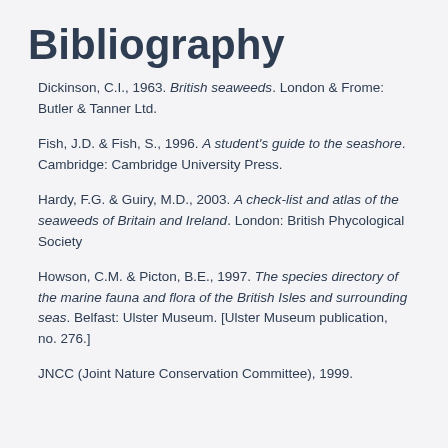Bibliography
Dickinson, C.I., 1963. British seaweeds. London & Frome: Butler & Tanner Ltd.
Fish, J.D. & Fish, S., 1996. A student's guide to the seashore. Cambridge: Cambridge University Press.
Hardy, F.G. & Guiry, M.D., 2003. A check-list and atlas of the seaweeds of Britain and Ireland. London: British Phycological Society
Howson, C.M. & Picton, B.E., 1997. The species directory of the marine fauna and flora of the British Isles and surrounding seas. Belfast: Ulster Museum. [Ulster Museum publication, no. 276.]
JNCC (Joint Nature Conservation Committee), 1999.